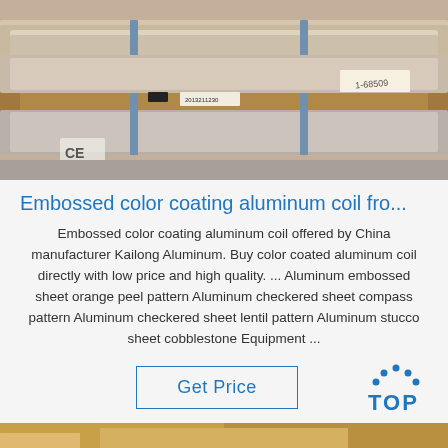[Figure (photo): Photo of packaged aluminum coil rolls stacked with blue straps, showing labels and CE marking]
Embossed color coating aluminum coil fro...
Embossed color coating aluminum coil offered by China manufacturer Kailong Aluminum. Buy color coated aluminum coil directly with low price and high quality. ... Aluminum embossed sheet orange peel pattern Aluminum checkered sheet compass pattern Aluminum checkered sheet lentil pattern Aluminum stucco sheet cobblestone Equipment ...
[Figure (logo): TOP logo with blue dots arranged in arc above the word TOP in blue]
[Figure (photo): Bottom strip showing another product photo, partially visible]